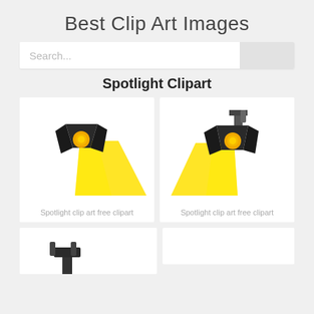Best Clip Art Images
[Figure (screenshot): Search bar with text 'Search...' and a grey button on the right]
Spotlight Clipart
[Figure (illustration): Spotlight clip art free clipart - spotlight facing right with yellow beam going down-right]
Spotlight clip art free clipart
[Figure (illustration): Spotlight clip art free clipart - spotlight facing left with yellow beam going down-left, mounted on bracket]
Spotlight clip art free clipart
[Figure (illustration): Partial spotlight clipart visible at bottom left, dark colored stage light shape]